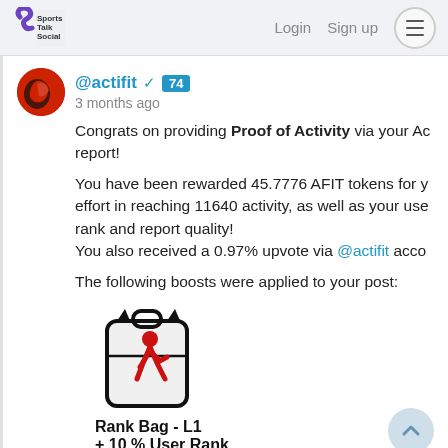Sports Talk Social — Login  Sign up
@actifit ✓ 74
3 months ago
Congrats on providing Proof of Activity via your Ac report!
You have been rewarded 45.7776 AFIT tokens for y effort in reaching 11640 activity, as well as your use rank and report quality!
You also received a 0.97% upvote via @actifit acco
The following boosts were applied to your post:
[Figure (illustration): Rank Bag icon — backpack with running figure logo in red and black]
Rank Bag - L1
+ 10 % User Rank